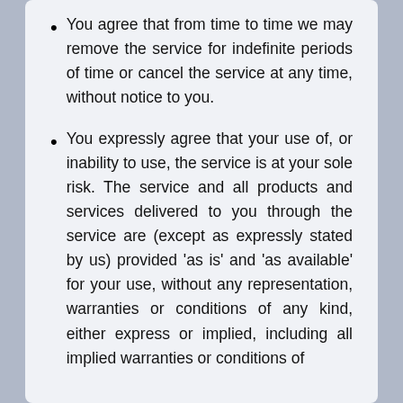You agree that from time to time we may remove the service for indefinite periods of time or cancel the service at any time, without notice to you.
You expressly agree that your use of, or inability to use, the service is at your sole risk. The service and all products and services delivered to you through the service are (except as expressly stated by us) provided 'as is' and 'as available' for your use, without any representation, warranties or conditions of any kind, either express or implied, including all implied warranties or conditions of